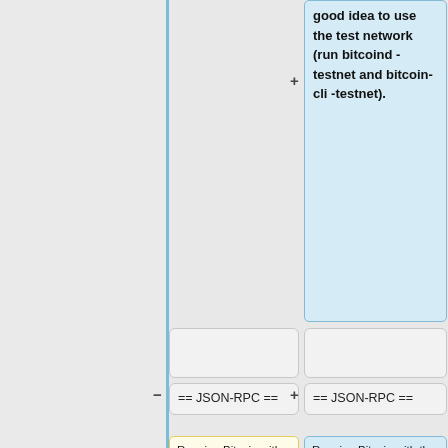good idea to use the test network (run bitcoind -testnet and bitcoin-cli -testnet).
== JSON-RPC ==
== JSON-RPC ==
Running Bitcoin with the -server argument (or running bitcoind) tells it to function as a [http://json-rpc.org/wiki/specification|HTTP JSON-RPC]
Running Bitcoin with the -server argument (or running bitcoind) tells it to function as a [http://json-rpc.org/wiki/specification HTTP JSON-RPC]